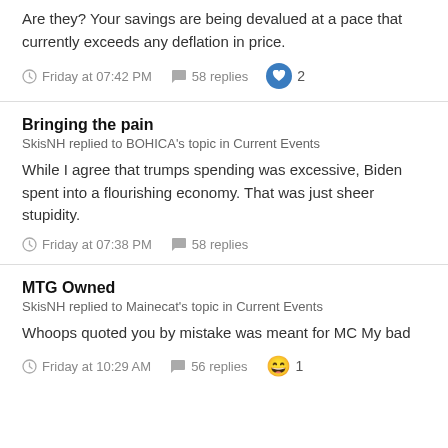Are they? Your savings are being devalued at a pace that currently exceeds any deflation in price.
Friday at 07:42 PM  58 replies  2
Bringing the pain
SkisNH replied to BOHICA's topic in Current Events
While I agree that trumps spending was excessive, Biden spent into a flourishing economy. That was just sheer stupidity.
Friday at 07:38 PM  58 replies
MTG Owned
SkisNH replied to Mainecat's topic in Current Events
Whoops quoted you by mistake was meant for MC My bad
Friday at 10:29 AM  56 replies  1